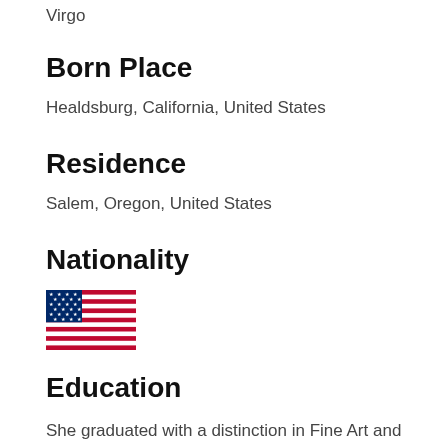Virgo
Born Place
Healdsburg, California, United States
Residence
Salem, Oregon, United States
Nationality
[Figure (illustration): US flag emoji]
Education
She graduated with a distinction in Fine Art and Drama in 2001 from Skidmore College. Later, she attended the Art